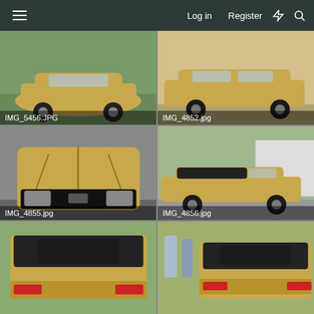Log in  Register
[Figure (photo): Gold/tan Ford Mustang front/side view on grass, labeled IMG_5456.JPG]
[Figure (photo): Gold Ford Mustang side profile view, labeled IMG_4852.jpg]
[Figure (photo): Gold Ford Mustang front hood/grille close-up, labeled IMG_4855.jpg]
[Figure (photo): Gold Ford Mustang convertible side view in driveway, labeled IMG_4856.jpg]
[Figure (photo): Gold Ford Mustang rear view showing top and taillights, partially cut off]
[Figure (photo): Gold Ford Mustang rear view with people standing beside, partially cut off]